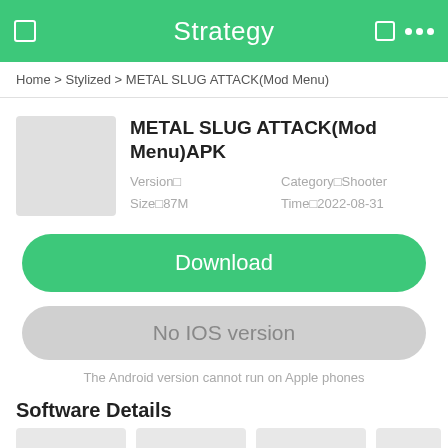Strategy
Home > Stylized > METAL SLUG ATTACK(Mod Menu)
METAL SLUG ATTACK(Mod Menu)APK
Version■	Category■Shooter
Size■187M	Time■2022-08-31
Download
No IOS version
The Android version cannot run on Apple phones
Software Details